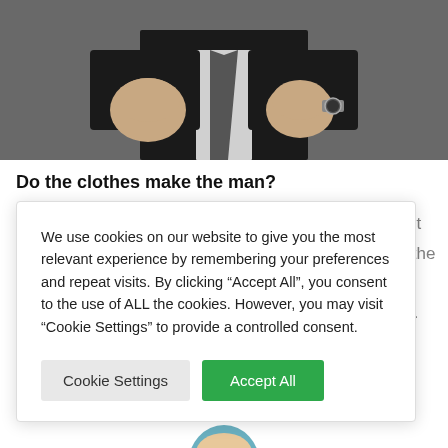[Figure (photo): Close-up photo of a man in a suit with his hands raised in fists, wearing a watch on his left wrist. Dark grey background.]
Do the clothes make the man?
We use cookies on our website to give you the most relevant experience by remembering your preferences and repeat visits. By clicking “Accept All”, you consent to the use of ALL the cookies. However, you may visit “Cookie Settings” to provide a controlled consent.
discount
at with the
el and image...